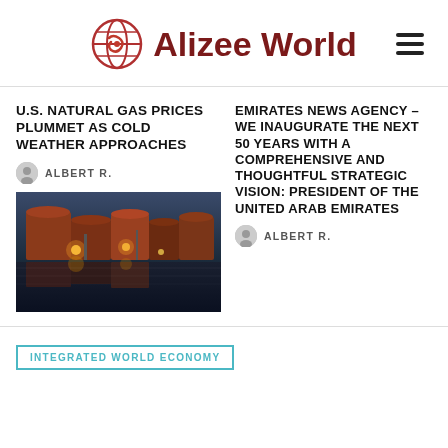Alizee World
U.S. NATURAL GAS PRICES PLUMMET AS COLD WEATHER APPROACHES
ALBERT R.
[Figure (photo): Industrial gas storage tanks at night reflected on water]
EMIRATES NEWS AGENCY – WE INAUGURATE THE NEXT 50 YEARS WITH A COMPREHENSIVE AND THOUGHTFUL STRATEGIC VISION: PRESIDENT OF THE UNITED ARAB EMIRATES
ALBERT R.
INTEGRATED WORLD ECONOMY